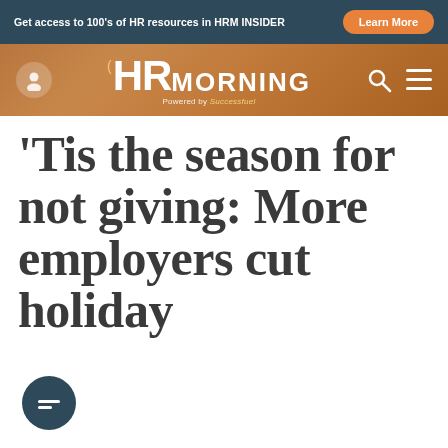Get access to 100's of HR resources in HRM INSIDER   Learn More
[Figure (logo): HR Morning logo with navigation bar showing user icon, search icon, and hamburger menu on a gradient orange-brown background]
'Tis the season for not giving: More employers cut holiday